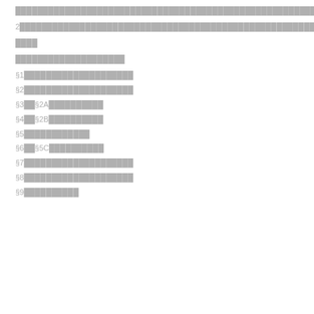████████████████████████████████████████████████████████████████████████████████████████████████████████████████████████████
2████████████████████████████████████████████████████████████████████
████
████████████████████
§1████████████████████
§2████████████████████
§3██§2A██████████
§4██§2B██████████
§5████████████
§6██§5C██████████
§7████████████████████
§8████████████████████
§9██████████